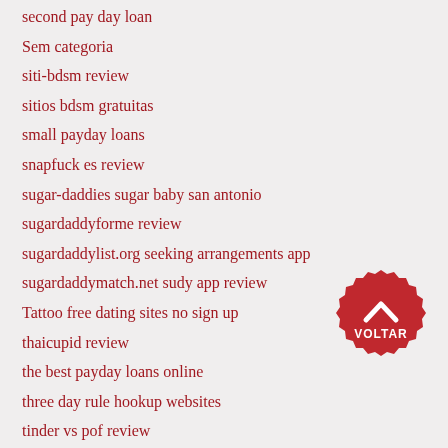second pay day loan
Sem categoria
siti-bdsm review
sitios bdsm gratuitas
small payday loans
snapfuck es review
sugar-daddies sugar baby san antonio
sugardaddyforme review
sugardaddylist.org seeking arrangements app
sugardaddymatch.net sudy app review
Tattoo free dating sites no sign up
thaicupid review
the best payday loans online
three day rule hookup websites
tinder vs pof review
[Figure (other): Red scalloped badge button with upward chevron arrow and text VOLTAR]